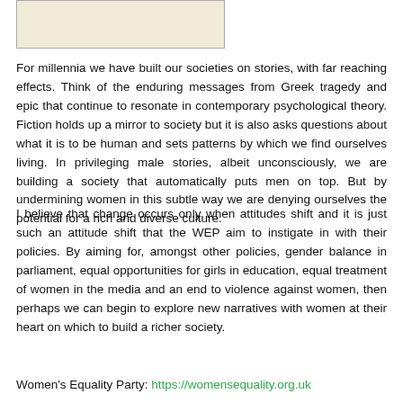[Figure (illustration): A partially visible rectangular image with a light beige/cream background, appearing to be a partial view of an illustration or cover image.]
For millennia we have built our societies on stories, with far reaching effects. Think of the enduring messages from Greek tragedy and epic that continue to resonate in contemporary psychological theory. Fiction holds up a mirror to society but it is also asks questions about what it is to be human and sets patterns by which we find ourselves living. In privileging male stories, albeit unconsciously, we are building a society that automatically puts men on top. But by undermining women in this subtle way we are denying ourselves the potential for a rich and diverse culture.
I believe that change occurs only when attitudes shift and it is just such an attitude shift that the WEP aim to instigate in with their policies. By aiming for, amongst other policies, gender balance in parliament, equal opportunities for girls in education, equal treatment of women in the media and an end to violence against women, then perhaps we can begin to explore new narratives with women at their heart on which to build a richer society.
Women's Equality Party: https://womensequality.org.uk